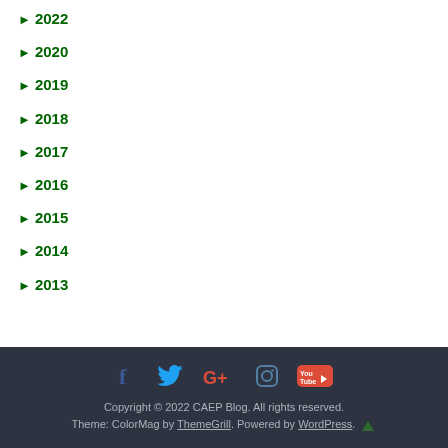► 2022
► 2020
► 2019
► 2018
► 2017
► 2016
► 2015
► 2014
► 2013
Copyright © 2022 CAEP Blog. All rights reserved. Theme: ColorMag by ThemeGrill. Powered by WordPress.